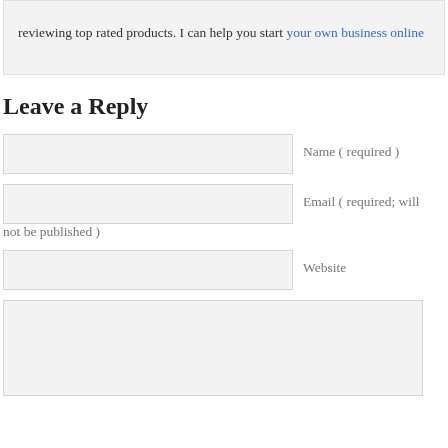reviewing top rated products. I can help you start your own business online
Leave a Reply
Name ( required )
Email ( required; will not be published )
Website